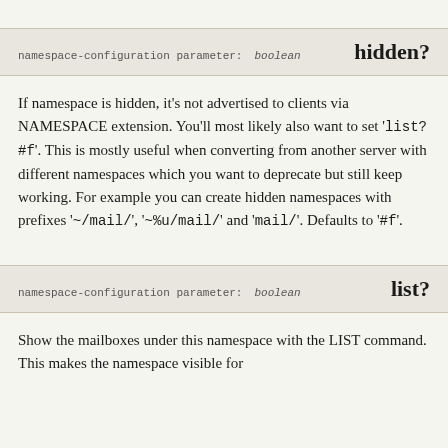namespace-configuration parameter: boolean   hidden?
If namespace is hidden, it’s not advertised to clients via NAMESPACE extension. You’ll most likely also want to set ‘list? #f’. This is mostly useful when converting from another server with different namespaces which you want to deprecate but still keep working. For example you can create hidden namespaces with prefixes ‘~/mail/’, ‘~%u/mail/’ and ‘mail/’. Defaults to ‘#f’.
namespace-configuration parameter: boolean   list?
Show the mailboxes under this namespace with the LIST command. This makes the namespace visible for